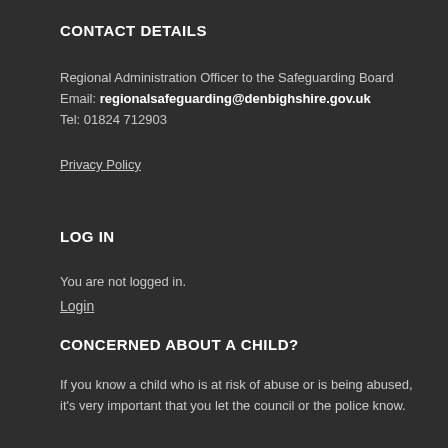CONTACT DETAILS
Regional Administration Officer to the Safeguarding Board
Email: regionalsafeguarding@denbighshire.gov.uk
Tel: 01824 712903
Privacy Policy
LOG IN
You are not logged in.
Login
CONCERNED ABOUT A CHILD?
If you know a child who is at risk of abuse or is being abused, it's very important that you let the council or the police know.